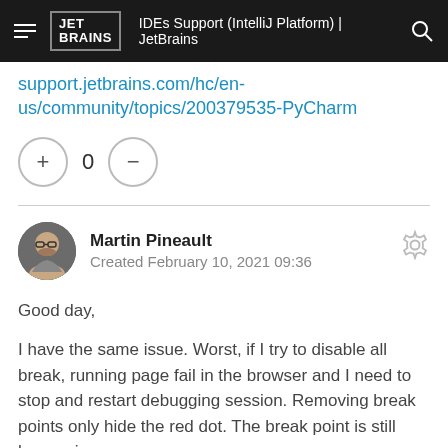IDEs Support (IntelliJ Platform) | JetBrains
support.jetbrains.com/hc/en-us/community/topics/200379535-PyCharm
+ 0 -
Martin Pineault
Created February 10, 2021 09:36
Good day,
I have the same issue. Worst, if I try to disable all break, running page fail in the browser and I need to stop and restart debugging session. Removing break points only hide the red dot. The break point is still happening.
I'm using PHPStorm 2020.3.2 with Docker 3.1.0 on